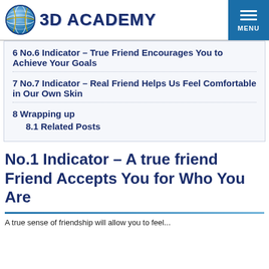3D ACADEMY
6 No.6 Indicator – True Friend Encourages You to Achieve Your Goals
7 No.7 Indicator – Real Friend Helps Us Feel Comfortable in Our Own Skin
8 Wrapping up
8.1 Related Posts
No.1 Indicator – A true friend Friend Accepts You for Who You Are
A true sense of friendship will allow you to feel...